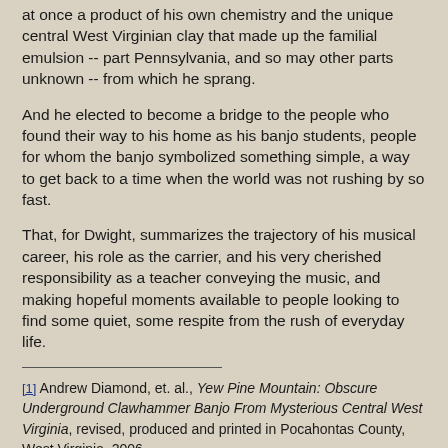at once a product of his own chemistry and the unique central West Virginian clay that made up the familial emulsion -- part Pennsylvania, and so may other parts unknown -- from which he sprang.
And he elected to become a bridge to the people who found their way to his home as his banjo students, people for whom the banjo symbolized something simple, a way to get back to a time when the world was not rushing by so fast.
That, for Dwight, summarizes the trajectory of his musical career, his role as the carrier, and his very cherished responsibility as a teacher conveying the music, and making hopeful moments available to people looking to find some quiet, some respite from the rush of everyday life.
[1] Andrew Diamond, et. al., Yew Pine Mountain: Obscure Underground Clawhammer Banjo From Mysterious Central West Virginia, revised, produced and printed in Pocahontas County, West Virginia, 2006.